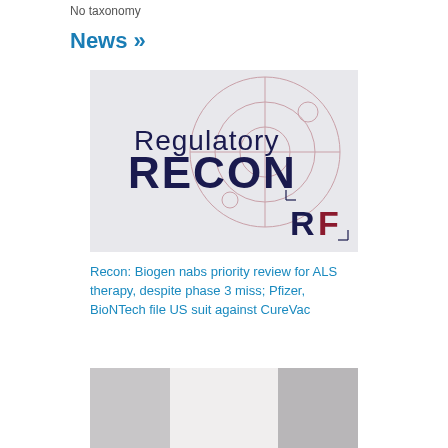No taxonomy
News »
[Figure (logo): Regulatory RECON logo with radar/crosshair design and RF initials in bottom right corner, light gray background with dark navy text and rose/mauve radar circle graphics]
Recon: Biogen nabs priority review for ALS therapy, despite phase 3 miss; Pfizer, BioNTech file US suit against CureVac
[Figure (photo): Partial photo at bottom of page showing person in white clothing, cropped]